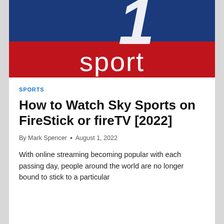[Figure (logo): Sky Sport logo with blue and red background. Large italic '1' numeral in white on blue, with 'sport' in white text on red banner.]
SPORTS
How to Watch Sky Sports on FireStick or fireTV [2022]
By Mark Spencer • August 1, 2022
With online streaming becoming popular with each passing day, people around the world are no longer bound to stick to a particular